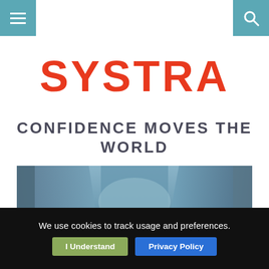[Figure (screenshot): SYSTRA website homepage screenshot showing navigation bar with hamburger menu and search icon, SYSTRA logo in red, tagline 'CONFIDENCE MOVES THE WORLD', a photo of a cyclist on a street with blue tint, and a cookie consent bar at the bottom.]
SYSTRA
CONFIDENCE MOVES THE WORLD
[Figure (photo): Blue-tinted photo of a person riding a bicycle on an urban street between large structures, viewed from behind and below.]
We use cookies to track usage and preferences.
I Understand
Privacy Policy